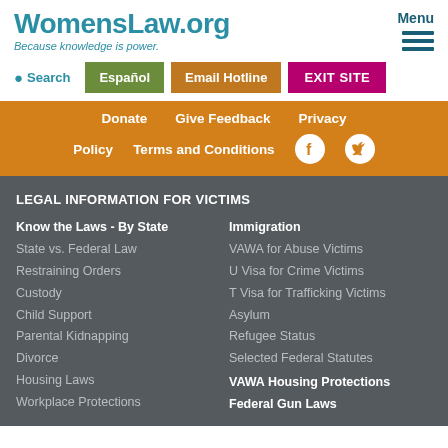WomensLaw.org
Because knowledge is power.
Menu
Search
Español
Email Hotline
EXIT SITE
Donate   Give Feedback   Privacy   Policy   Terms and Conditions
LEGAL INFORMATION FOR VICTIMS
Know the Laws - By State
State vs. Federal Law
Restraining Orders
Custody
Child Support
Parental Kidnapping
Divorce
Housing Laws
Workplace Protections
Immigration
VAWA for Abuse Victims
U Visa for Crime Victims
T Visa for Trafficking Victims
Asylum
Refugee Status
Selected Federal Statutes
VAWA Housing Protections
Federal Gun Laws